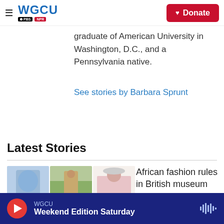WGCU PBS NPR — Donate
graduate of American University in Washington, D.C., and a Pennsylvania native.
See stories by Barbara Sprunt
Latest Stories
[Figure (photo): Three fashion photos: blue draped top, man in tan suit in field, woman in floral dress with hat]
African fashion rules in British museum show, from chic dashikis to
WGCU — Weekend Edition Saturday